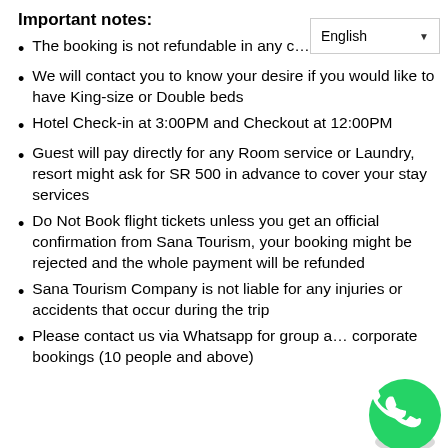Important notes:
The booking is not refundable in any c…
We will contact you to know your desire if you would like to have King-size or Double beds
Hotel Check-in at 3:00PM and Checkout at 12:00PM
Guest will pay directly for any Room service or Laundry, resort might ask for SR 500 in advance to cover your stay services
Do Not Book flight tickets unless you get an official confirmation from Sana Tourism, your booking might be rejected and the whole payment will be refunded
Sana Tourism Company is not liable for any injuries or accidents that occur during the trip
Please contact us via Whatsapp for group and corporate bookings (10 people and above)
[Figure (logo): WhatsApp logo icon (green circle with white phone handset)]